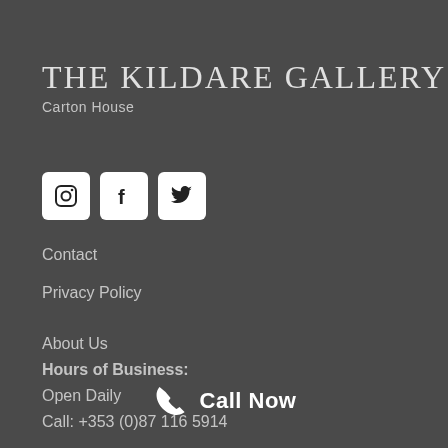THE KILDARE GALLERY
Carton House
[Figure (logo): Three social media icons: Instagram, Facebook, Twitter in white rounded square boxes]
Contact
Privacy Policy
About Us
Hours of Business:
Open Daily
Call: +353 (0)87 116 5914
Call Now